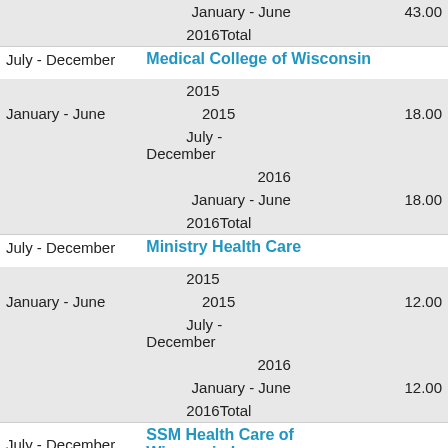| January - June |  | 43.00 |
| 2016Total |  |  |
| July - December | Medical College of Wisconsin |  |
| 2015 |  |  |
| January - June | 2015 | 18.00 |
| July - December |  |  |
| 2016 |  |  |
| January - June |  | 18.00 |
| 2016Total |  |  |
| July - December | Ministry Health Care |  |
| 2015 |  |  |
| January - June | 2015 | 12.00 |
| July - December |  |  |
| 2016 |  |  |
| January - June |  | 12.00 |
| 2016Total |  |  |
| July - December | SSM Health Care of Wisconsin Inc |  |
| 2015 |  |  |